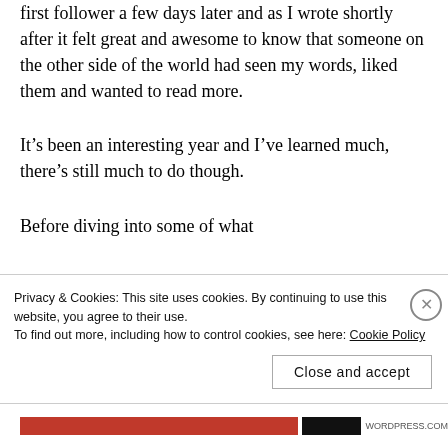first follower a few days later and as I wrote shortly after it felt great and awesome to know that someone on the other side of the world had seen my words, liked them and wanted to read more.
It’s been an interesting year and I’ve learned much, there’s still much to do though.
Before diving into some of what
Privacy & Cookies: This site uses cookies. By continuing to use this website, you agree to their use.
To find out more, including how to control cookies, see here: Cookie Policy
Close and accept